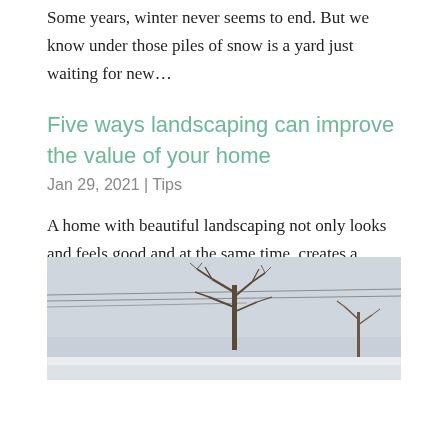Some years, winter never seems to end. But we know under those piles of snow is a yard just waiting for new…
Five ways landscaping can improve the value of your home
Jan 29, 2021 | Tips
A home with beautiful landscaping not only looks and feels good and at the same time, creates a welcoming environment but a great yard adds tremendous value to your home. It's not just that new open kitchen or luxurious bathroom that can add dollar signs to the…
[Figure (photo): A winter landscape photograph showing bare trees against a grey sky.]